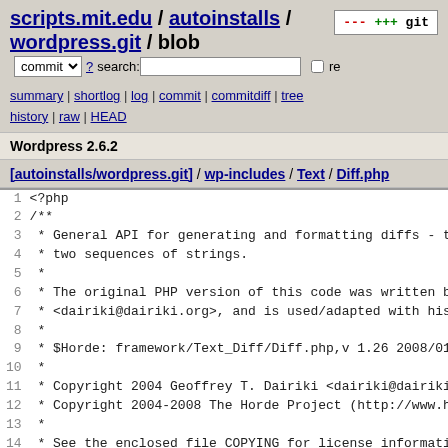scripts.mit.edu / autoinstalls / wordpress.git / blob
summary | shortlog | log | commit | commitdiff | tree
history | raw | HEAD
Wordpress 2.6.2
[autoinstalls/wordpress.git] / wp-includes / Text / Diff.php
1  <?php
2  /**
3   * General API for generating and formatting diffs - th
4   * two sequences of strings.
5   *
6   * The original PHP version of this code was written by
7   * <dairiki@dairiki.org>, and is used/adapted with his
8   *
9   * $Horde: framework/Text_Diff/Diff.php,v 1.26 2008/01/
10  *
11  * Copyright 2004 Geoffrey T. Dairiki <dairiki@dairiki.
12  * Copyright 2004-2008 The Horde Project (http://www.ho
13  *
14  * See the enclosed file COPYING for license informatic
15  * not receive this file, see http://opensource.org/lic
16  *
17  * @package Text_Diff
18  * @author  Geoffrey T. Dairiki <dairiki@dairiki.org>
19  */